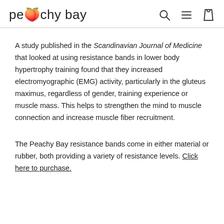peachy bay
A study published in the Scandinavian Journal of Medicine that looked at using resistance bands in lower body hypertrophy training found that they increased electromyographic (EMG) activity, particularly in the gluteus maximus, regardless of gender, training experience or muscle mass. This helps to strengthen the mind to muscle connection and increase muscle fiber recruitment.
The Peachy Bay resistance bands come in either material or rubber, both providing a variety of resistance levels. Click here to purchase.